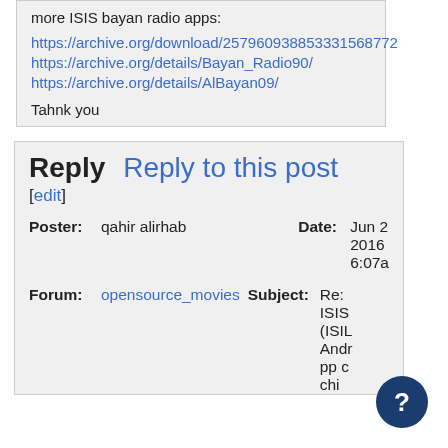more ISIS bayan radio apps:
https://archive.org/download/257960938853331568772
https://archive.org/details/Bayan_Radio90/
https://archive.org/details/AlBayan09/
Tahnk you
Reply   Reply to this post
[edit]
Poster: qahir alirhab   Date: Jun 2 2016 6:07a
Forum: opensource_movies   Subject: Re: ISIS (ISIL Android app chi...